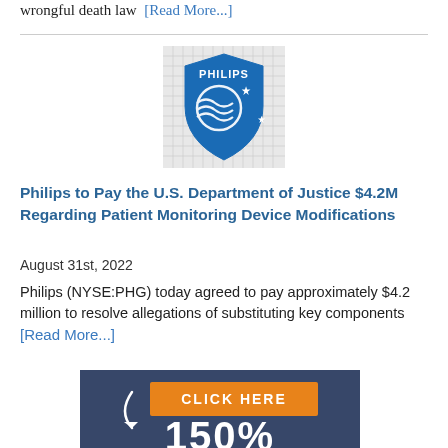wrongful death law [Read More...]
[Figure (photo): Philips company logo sign — blue shield shape with globe and star design on a grid background]
Philips to Pay the U.S. Department of Justice $4.2M Regarding Patient Monitoring Device Modifications
August 31st, 2022
Philips (NYSE:PHG) today agreed to pay approximately $4.2 million to resolve allegations of substituting key components  [Read More...]
[Figure (infographic): Dark navy blue banner with orange 'CLICK HERE' button and curved white arrow, with large white '150%' text partially visible at bottom]